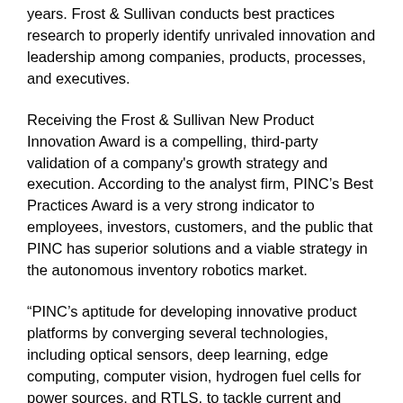years. Frost & Sullivan conducts best practices research to properly identify unrivaled innovation and leadership among companies, products, processes, and executives.
Receiving the Frost & Sullivan New Product Innovation Award is a compelling, third-party validation of a company's growth strategy and execution. According to the analyst firm, PINC's Best Practices Award is a very strong indicator to employees, investors, customers, and the public that PINC has superior solutions and a viable strategy in the autonomous inventory robotics market.
“PINC’s aptitude for developing innovative product platforms by converging several technologies, including optical sensors, deep learning, edge computing, computer vision, hydrogen fuel cells for power sources, and RTLS, to tackle current and